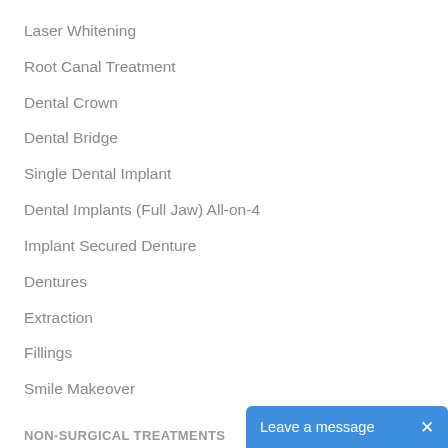Laser Whitening
Root Canal Treatment
Dental Crown
Dental Bridge
Single Dental Implant
Dental Implants (Full Jaw) All-on-4
Implant Secured Denture
Dentures
Extraction
Fillings
Smile Makeover
NON-SURGICAL TREATMENTS